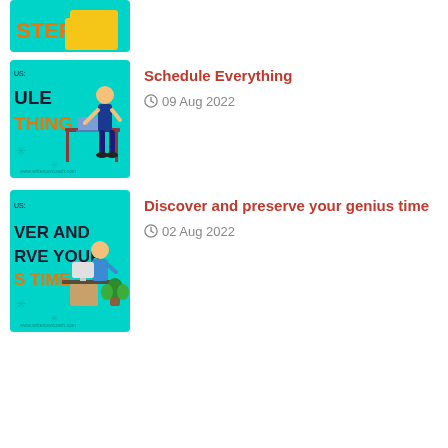[Figure (illustration): Partial thumbnail of a blog post about steps, teal/cyan background with orange text STEPS and yellow folder graphic, www.writenowcoach.com watermark]
[Figure (illustration): Thumbnail of Schedule Everything blog post, teal/cyan background with dark text SCHEDULE EVERYTHING partially visible, person working at standing desk illustration, www.writenowcoach.com watermark]
Schedule Everything
09 Aug 2022
[Figure (illustration): Thumbnail of Discover and preserve your genius time blog post, teal/cyan background with text VER AND RVE YOUR S TIME partially visible, person sitting at desk with plant illustration, www.writenowcoach.com watermark]
Discover and preserve your genius time
02 Aug 2022